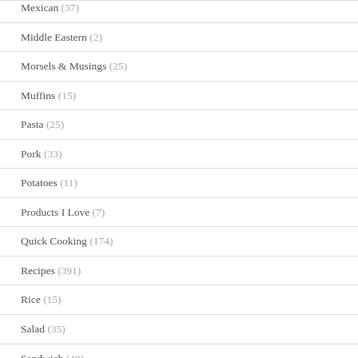Mexican (37)
Middle Eastern (2)
Morsels & Musings (25)
Muffins (15)
Pasta (25)
Pork (33)
Potatoes (11)
Products I Love (7)
Quick Cooking (174)
Recipes (391)
Rice (15)
Salad (35)
Sandwich (40)
Sauce (22)